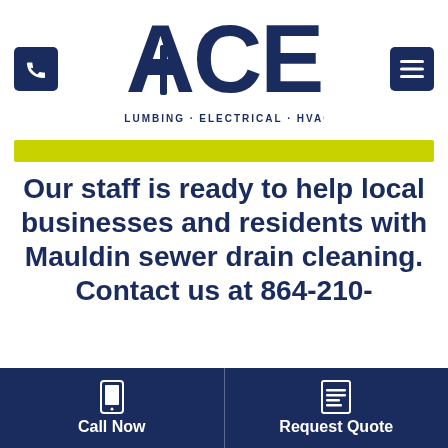[Figure (logo): Ace Plumbing Electrical HVAC logo with stylized ACE text and tagline PLUMBING · ELECTRICAL · HVAC]
Our staff is ready to help local businesses and residents with Mauldin sewer drain cleaning. Contact us at 864-210-
Call Now | Request Quote